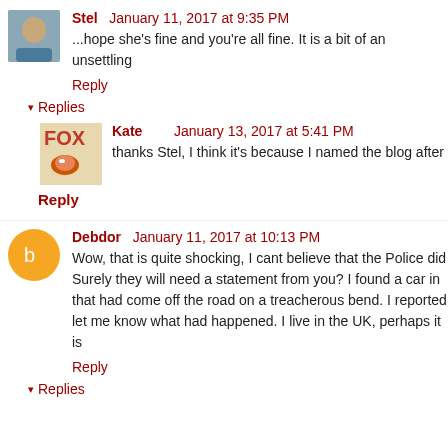Stel January 11, 2017 at 9:35 PM
...hope she's fine and you're all fine. It is a bit of an unsettling
Reply
▾ Replies
Kate January 13, 2017 at 5:41 PM
thanks Stel, I think it's because I named the blog after
Reply
Debdor January 11, 2017 at 10:13 PM
Wow, that is quite shocking, I cant believe that the Police did Surely they will need a statement from you? I found a car in that had come off the road on a treacherous bend. I reported let me know what had happened. I live in the UK, perhaps it is
Reply
▾ Replies